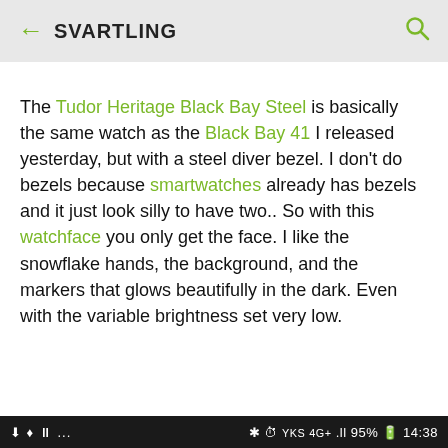← SVARTLING
The Tudor Heritage Black Bay Steel is basically the same watch as the Black Bay 41 I released yesterday, but with a steel diver bezel. I don't do bezels because smartwatches already has bezels and it just look silly to have two.. So with this watchface you only get the face. I like the snowflake hands, the background, and the markers that glows beautifully in the dark. Even with the variable brightness set very low.
⬇ ♦ ⏸ ...   ✱ ⏰ YKS 4G .ll 95% 🔋 14:38